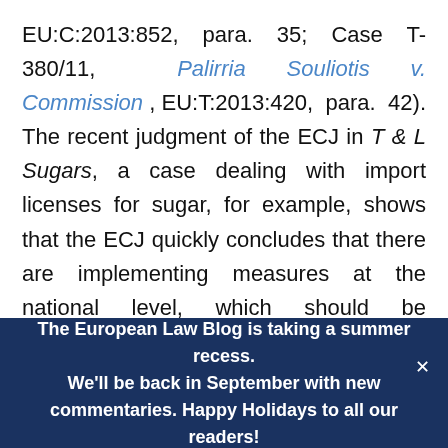EU:C:2013:852, para. 35; Case T-380/11, Palirria Souliotis v. Commission , EU:T:2013:420, para. 42). The recent judgment of the ECJ in T & L Sugars, a case dealing with import licenses for sugar, for example, shows that the ECJ quickly concludes that there are implementing measures at the national level, which should be challenged before national courts (C-456/13 P, T & L Sugars, EU: C:2015:284). The ECJ qualified the limited intervention of national authorities as implementing measures (para. 31).
The European Law Blog is taking a summer recess. We'll be back in September with new commentaries. Happy Holidays to all our readers!